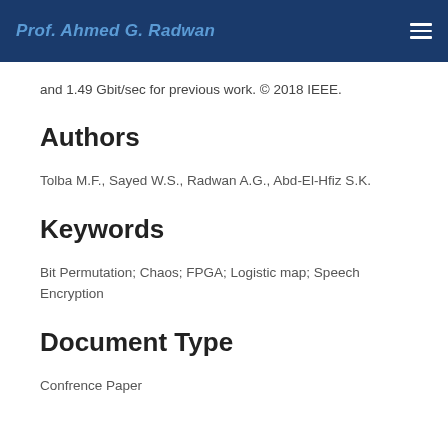Prof. Ahmed G. Radwan
and 1.49 Gbit/sec for previous work. © 2018 IEEE.
Authors
Tolba M.F., Sayed W.S., Radwan A.G., Abd-El-Hfiz S.K.
Keywords
Bit Permutation; Chaos; FPGA; Logistic map; Speech Encryption
Document Type
Confrence Paper